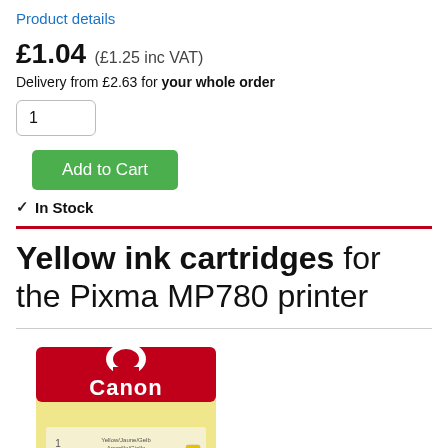Product details
£1.04 (£1.25 inc VAT)
Delivery from £2.63 for your whole order
1
Add to Cart
✓ In Stock
Yellow ink cartridges for the Pixma MP780 printer
[Figure (photo): Canon yellow ink cartridge product photo showing a yellow and red Canon branded ink cartridge package]